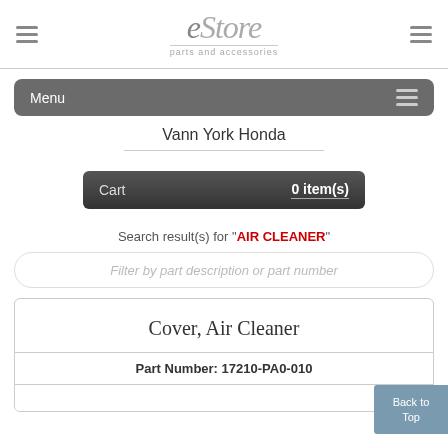eStore parts and accessories
Menu
Vann York Honda
Cart   0 item(s)
Search result(s) for "AIR CLEANER"
Filter by part description or part number
Cover, Air Cleaner
Part Number: 17210-PA0-010